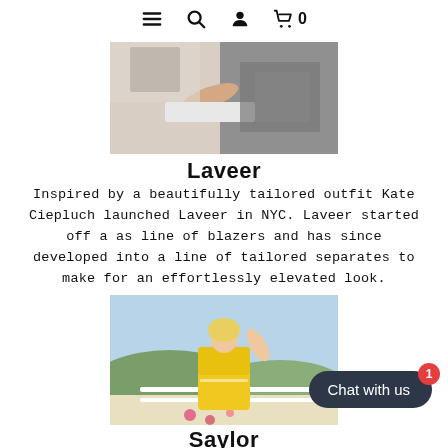Navigation bar with hamburger menu, search, user, and cart icons (0 items)
[Figure (photo): Fashion photo of a woman in a tweed or patterned jacket, partial upper body shot, gray tones]
Laveer
Inspired by a beautifully tailored outfit Kate Ciepluch launched Laveer in NYC. Laveer started off a as line of blazers and has since developed into a line of tailored separates to make for an effortlessly elevated look.
[Figure (photo): Fashion photo of a smiling blonde woman wearing a yellow patterned crop top and skirt set, outdoor scene with hills in background]
Saylor